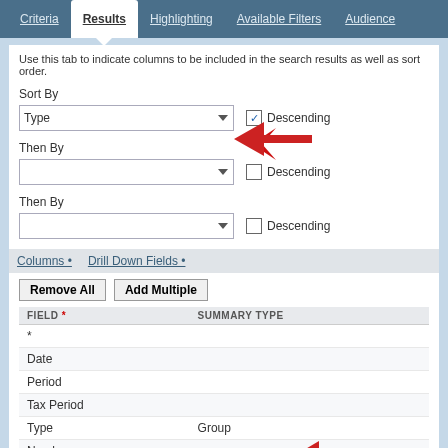Criteria | Results | Highlighting | Available Filters | Audience
Use this tab to indicate columns to be included in the search results as well as sort order.
Sort By
[Figure (screenshot): Sort By dropdown showing 'Type' selected with a checked Descending checkbox, a red arrow pointing to the Descending checkbox. Below are two Then By rows each with empty dropdowns and unchecked Descending checkboxes.]
Then By
Then By
Columns • Drill Down Fields •
Remove All | Add Multiple
| FIELD * | SUMMARY TYPE |
| --- | --- |
| * |  |
| Date |  |
| Period |  |
| Tax Period |  |
| Type | Group |
| Number |  |
| Name |  |
| Account |  |